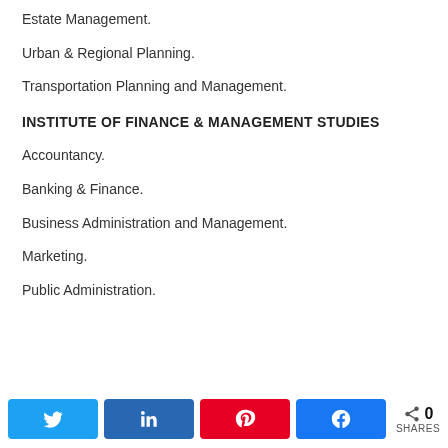Estate Management.
Urban & Regional Planning.
Transportation Planning and Management.
INSTITUTE OF FINANCE & MANAGEMENT STUDIES
Accountancy.
Banking & Finance.
Business Administration and Management.
Marketing.
Public Administration.
0 SHARES